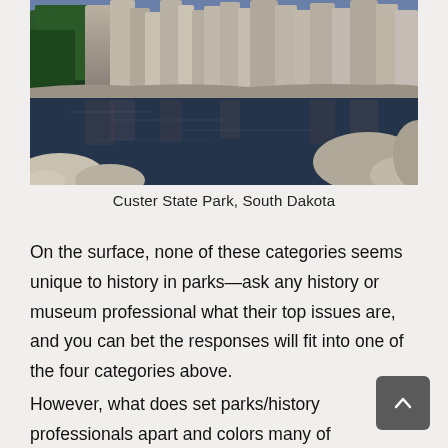[Figure (photo): Photograph of Custer State Park, South Dakota — rocky granite formations reflected in a calm lake, with evergreen trees on the left and boulders in the foreground.]
Custer State Park, South Dakota
On the surface, none of these categories seems unique to history in parks—ask any history or museum professional what their top issues are, and you can bet the responses will fit into one of the four categories above.
However, what does set parks/history professionals apart and colors many of our